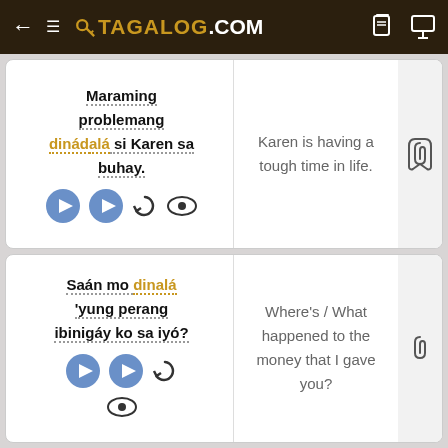TAGALOG.COM
Maraming problemang dinádala si Karen sa buhay.
Karen is having a tough time in life.
Saán mo dinalá 'yung perang ibinigáy ko sa iyó?
Where's / What happened to the money that I gave you?